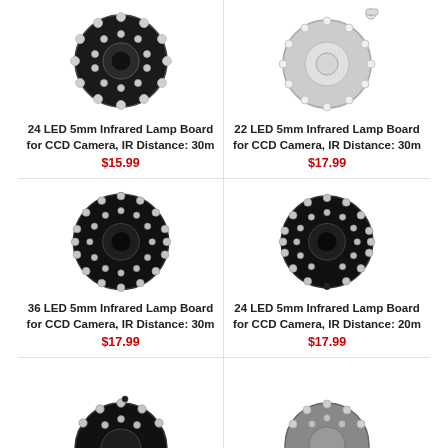[Figure (photo): 24 LED infrared lamp board circular PCB with LEDs arranged in rings]
24 LED 5mm Infrared Lamp Board for CCD Camera, IR Distance: 30m
$15.99
[Figure (photo): 22 LED infrared lamp board with LEDs and mounting bracket]
22 LED 5mm Infrared Lamp Board for CCD Camera, IR Distance: 30m
$17.99
[Figure (photo): 36 LED 5mm infrared lamp board circular PCB with three rings of LEDs]
36 LED 5mm Infrared Lamp Board for CCD Camera, IR Distance: 30m
$17.99
[Figure (photo): 24 LED 5mm infrared lamp board circular PCB with two rings of LEDs]
24 LED 5mm Infrared Lamp Board for CCD Camera, IR Distance: 20m
$17.99
[Figure (photo): Partial view of an infrared lamp board at bottom left]
[Figure (photo): Partial view of an infrared lamp board at bottom right]